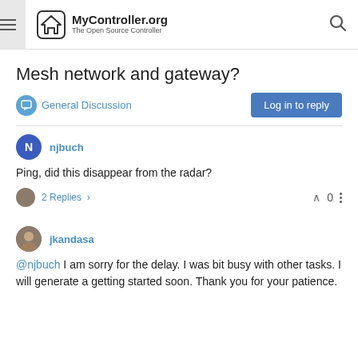MyController.org — The Open Source Controller
Mesh network and gateway?
General Discussion
Log in to reply
njbuch
Ping, did this disappear from the radar?
2 Replies > 0
jkandasa
@njbuch I am sorry for the delay. I was bit busy with other tasks. I will generate a getting started soon. Thank you for your patience.